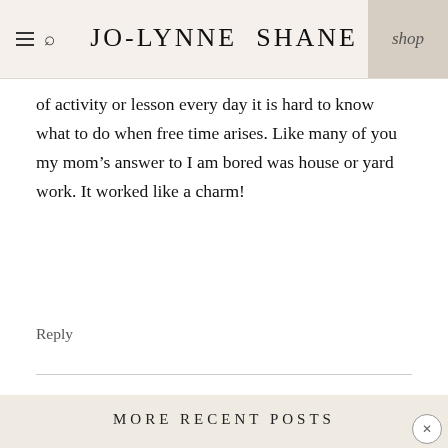JO-LYNNE SHANE | shop
of activity or lesson every day it is hard to know what to do when free time arises. Like many of you my mom’s answer to I am bored was house or yard work. It worked like a charm!
Reply
MORE RECENT POSTS
[Figure (photo): Partial photo of a person with light hair against a light background]